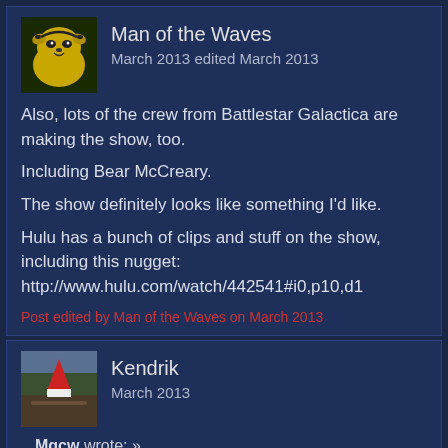[Figure (illustration): Avatar of user Man of the Waves - cartoon yellow dog character (Jake from Adventure Time)]
Man of the Waves
March 2013 edited March 2013
Also, lots of the crew from Battlestar Galactica are making the show, too.
Including Bear McCreary.
The show definitely looks like something I'd like.
Hulu has a bunch of clips and stuff on the show, including this nugget: http://www.hulu.com/watch/442541#i0,p10,d1
Post edited by Man of the Waves on March 2013
[Figure (illustration): Avatar of user Kendrik - outdoor/nature scene photo with red and white object]
Kendrik
March 2013
Mgcw wrote: »
The showrunner appears to be the guy who did